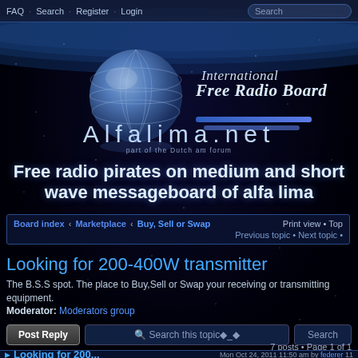FAQ · Search · Register · Login | Search
[Figure (illustration): Globe with International Free Radio Board logo and Alfalima.net text with Earth background]
Free radio pirates on medium and short wave messageboard of alfa lima
Board index ‹ Marketplace ‹ Buy, Sell or Swap | Print view • Top | Previous topic • Next topic •
Looking for 200-400W transmitter
The B.S.S spot. The place to Buy,Sell or Swap your receiving or transmitting equipment.
Moderator: Moderators group
Post Reply | Search this topic | Search
7 posts • Page 1 of 1
Looking for 200... Mon Oct 24, 2011 11:50 am by federer  11